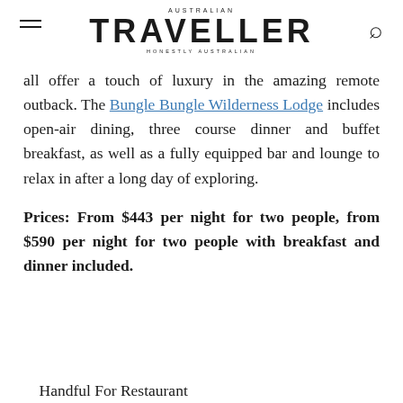AUSTRALIAN TRAVELLER — HONESTLY AUSTRALIAN
all offer a touch of luxury in the amazing remote outback. The Bungle Bungle Wilderness Lodge includes open-air dining, three course dinner and buffet breakfast, as well as a fully equipped bar and lounge to relax in after a long day of exploring.
Prices: From $443 per night for two people, from $590 per night for two people with breakfast and dinner included.
Handful For Restaurant